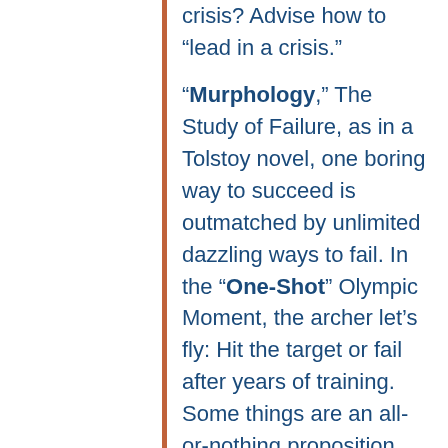crisis? Advise how to "lead in a crisis."

"Murphology," The Study of Failure, as in a Tolstoy novel, one boring way to succeed is outmatched by unlimited dazzling ways to fail. In the "One-Shot" Olympic Moment, the archer let's fly: Hit the target or fail after years of training. Some things are an all-or-nothing proposition. While creativity is required in unprecedented times, a pandemic is too fraught to risk